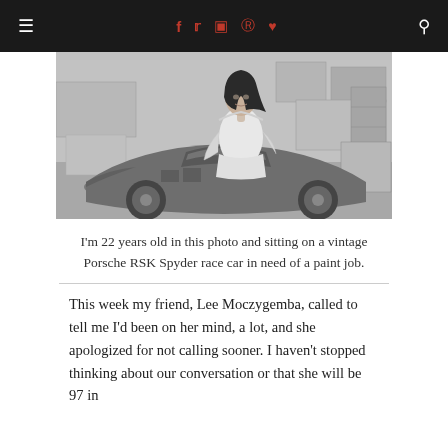≡  f  t  [instagram]  [pinterest]  [heart]  [search]
[Figure (photo): Black and white photograph of a young woman, approximately 22 years old, sitting on a vintage Porsche RSK Spyder race car that appears to need a paint job. Various items and boxes are visible in the background.]
I'm 22 years old in this photo and sitting on a vintage Porsche RSK Spyder race car in need of a paint job.
This week my friend, Lee Moczygemba, called to tell me I'd been on her mind, a lot, and she apologized for not calling sooner. I haven't stopped thinking about our conversation or that she will be 97 in